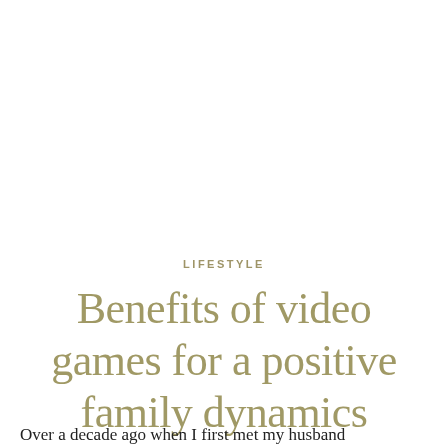LIFESTYLE
Benefits of video games for a positive family dynamics
Over a decade ago when I first met my husband